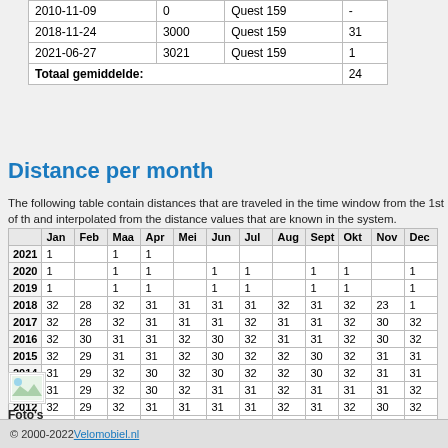|  |  |  |  |
| --- | --- | --- | --- |
| 2010-11-09 | 0 | Quest 159 | - |
| 2018-11-24 | 3000 | Quest 159 | 31 |
| 2021-06-27 | 3021 | Quest 159 | 1 |
| Totaal gemiddelde: |  |  | 24 |
Distance per month
The following table contain distances that are traveled in the time window from the 1st of th and interpolated from the distance values that are known in the system.
|  | Jan | Feb | Maa | Apr | Mei | Jun | Jul | Aug | Sept | Okt | Nov | Dec |
| --- | --- | --- | --- | --- | --- | --- | --- | --- | --- | --- | --- | --- |
| 2021 | 1 |  | 1 | 1 |  |  |  |  |  |  |  |  |
| 2020 | 1 |  | 1 | 1 |  | 1 | 1 |  | 1 | 1 |  | 1 |
| 2019 | 1 |  | 1 | 1 |  | 1 | 1 |  | 1 | 1 |  | 1 |
| 2018 | 32 | 28 | 32 | 31 | 31 | 31 | 31 | 32 | 31 | 32 | 23 | 1 |
| 2017 | 32 | 28 | 32 | 31 | 31 | 31 | 32 | 31 | 31 | 32 | 30 | 32 |
| 2016 | 32 | 30 | 31 | 31 | 32 | 30 | 32 | 31 | 31 | 32 | 30 | 32 |
| 2015 | 32 | 29 | 31 | 31 | 32 | 30 | 32 | 32 | 30 | 32 | 31 | 31 |
| 2014 | 31 | 29 | 32 | 30 | 32 | 30 | 32 | 32 | 30 | 32 | 31 | 31 |
| 2013 | 31 | 29 | 32 | 30 | 32 | 31 | 31 | 32 | 31 | 31 | 31 | 32 |
| 2012 | 32 | 29 | 32 | 31 | 31 | 31 | 31 | 32 | 31 | 32 | 30 | 32 |
| 2011 | 32 | 28 | 32 | 31 | 31 | 31 | 32 | 31 | 31 | 32 | 30 | 32 |
| 2010 |  |  |  |  |  |  |  |  |  |  |  | 32 |
[Figure (photo): Small image icon (broken/placeholder image)]
Foto's
© 2000-2022 Velomobiel.nl